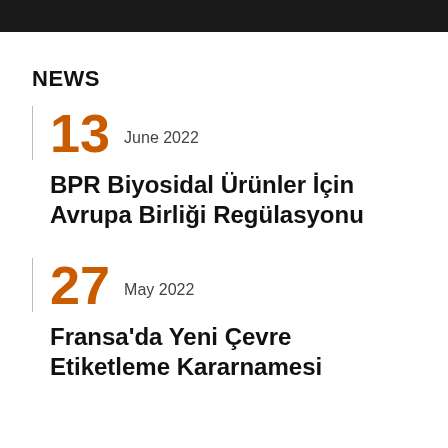NEWS
13 June 2022
BPR Biyosidal Ürünler İçin Avrupa Birliği Regülasyonu
27 May 2022
Fransa'da Yeni Çevre Etiketleme Kararnamesi